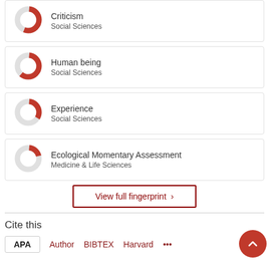[Figure (donut-chart): Donut chart for Criticism, Social Sciences, partial red fill]
Criticism
Social Sciences
[Figure (donut-chart): Donut chart for Human being, Social Sciences, ~60% red fill]
Human being
Social Sciences
[Figure (donut-chart): Donut chart for Experience, Social Sciences, ~30% red fill]
Experience
Social Sciences
[Figure (donut-chart): Donut chart for Ecological Momentary Assessment, Medicine & Life Sciences, ~20% red fill]
Ecological Momentary Assessment
Medicine & Life Sciences
View full fingerprint >
Cite this
APA  Author  BIBTEX  Harvard  ...